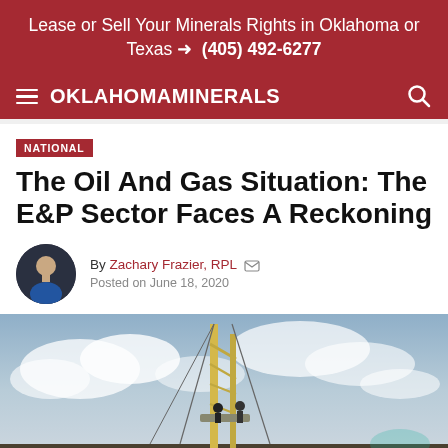Lease or Sell Your Minerals Rights in Oklahoma or Texas → (405) 492-6277
OKLAHOMA MINERALS
NATIONAL
The Oil And Gas Situation: The E&P Sector Faces A Reckoning
By Zachary Frazier, RPL  Posted on June 18, 2020
[Figure (photo): Photograph of an oil drilling rig against a cloudy sky with workers on the platform]